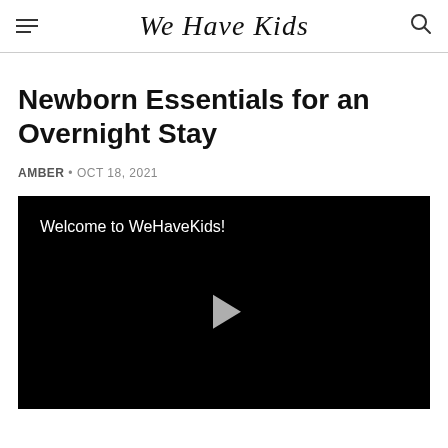We Have Kids
Newborn Essentials for an Overnight Stay
AMBER • OCT 18, 2021
[Figure (screenshot): Video player with black background showing text 'Welcome to WeHaveKids!' and a play button in the center]